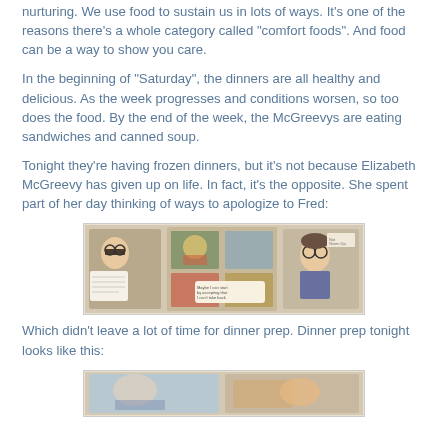nurturing. We use food to sustain us in lots of ways. It's one of the reasons there's a whole category called "comfort foods". And food can be a way to show you care.
In the beginning of "Saturday", the dinners are all healthy and delicious. As the week progresses and conditions worsen, so too does the food. By the end of the week, the McGreevys are eating sandwiches and canned soup.
Tonight they're having frozen dinners, but it's not because Elizabeth McGreevy has given up on life. In fact, it's the opposite. She spent part of her day thinking of ways to apologize to Fred:
[Figure (illustration): Comic strip panel showing Elizabeth McGreevy looking at a scrapbook or album with multiple illustrated panels depicting scenes with Fred.]
Which didn't leave a lot of time for dinner prep. Dinner prep tonight looks like this:
[Figure (illustration): Partial comic strip panel visible at the bottom of the page showing dinner preparation scenes.]